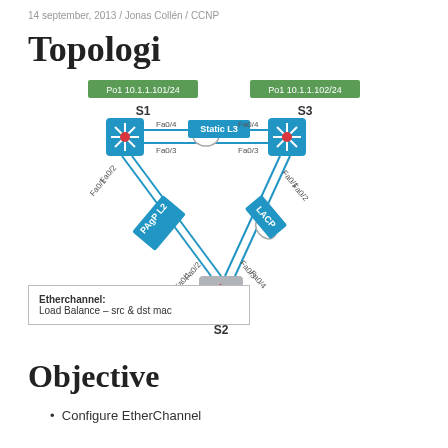14 september, 2013 / Jonas Collén / CCNP
Topologi
[Figure (network-graph): Network topology diagram showing three switches S1, S2, S3 connected via EtherChannel links. S1 and S3 are connected by a Static L3 link on Fa0/4 and Fa0/3. S1 connects to S2 via PAgP L2 on Fa0/1 and Fa0/2. S3 connects to S2 via LACP on Fa0/1 and Fa0/2. S1 has Po1 10.1.1.101/24 label, S3 has Po1 10.1.1.102/24 label.]
Etherchannel:
Load Balance – src & dst mac
Objective
Configure EtherChannel